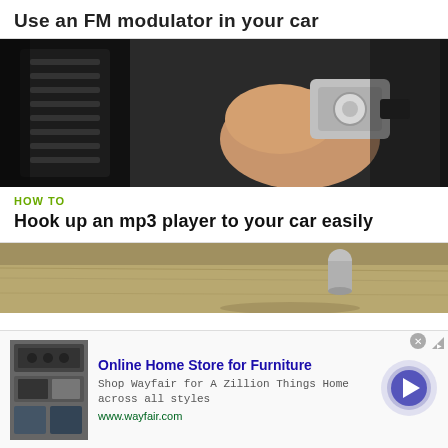Use an FM modulator in your car
[Figure (photo): Close-up photo of hands holding an FM modulator device in a car]
HOW TO
Hook up an mp3 player to your car easily
[Figure (photo): Partial photo of a surface with objects, partially obscured by an ad banner]
[Figure (infographic): Advertisement banner: Online Home Store for Furniture - Shop Wayfair for A Zillion Things Home across all styles - www.wayfair.com]